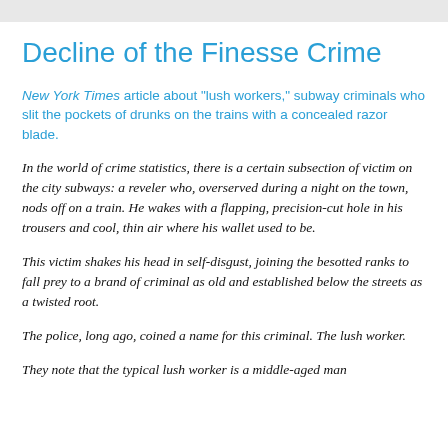Decline of the Finesse Crime
New York Times article about "lush workers," subway criminals who slit the pockets of drunks on the trains with a concealed razor blade.
In the world of crime statistics, there is a certain subsection of victim on the city subways: a reveler who, overserved during a night on the town, nods off on a train. He wakes with a flapping, precision-cut hole in his trousers and cool, thin air where his wallet used to be.
This victim shakes his head in self-disgust, joining the besotted ranks to fall prey to a brand of criminal as old and established below the streets as a twisted root.
The police, long ago, coined a name for this criminal. The lush worker.
They note that the typical lush worker is a middle-aged man